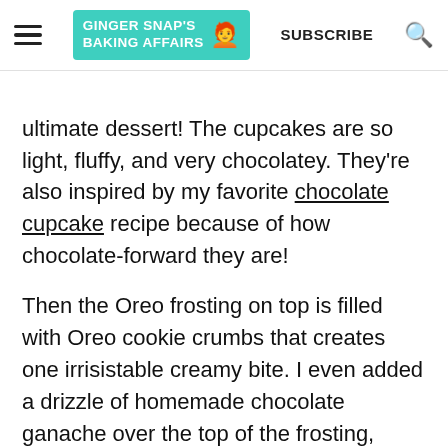GINGER SNAP'S BAKING AFFAIRS | SUBSCRIBE
ultimate dessert! The cupcakes are so light, fluffy, and very chocolatey. They're also inspired by my favorite chocolate cupcake recipe because of how chocolate-forward they are!
Then the Oreo frosting on top is filled with Oreo cookie crumbs that creates one irrisistable creamy bite. I even added a drizzle of homemade chocolate ganache over the top of the frosting, along with a